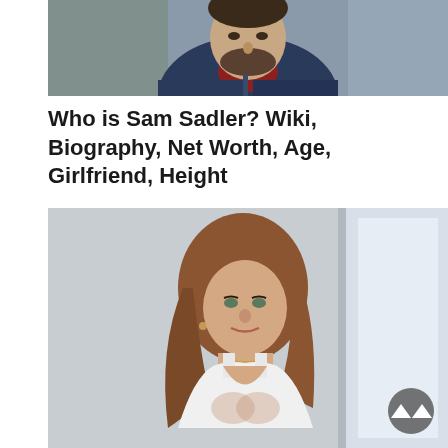[Figure (photo): Top portion of a man with beard wearing a dark blue puffer jacket over a red/maroon shirt, photographed from chest up, outdoors with blurred green background]
Who is Sam Sadler? Wiki, Biography, Net Worth, Age, Girlfriend, Height
[Figure (photo): Young woman with long brown/auburn hair wearing a white low-cut top, photographed in a bright indoor setting, light background with window visible. A scroll-to-top button (dark circular with upward triangle) is overlaid in the bottom right corner.]